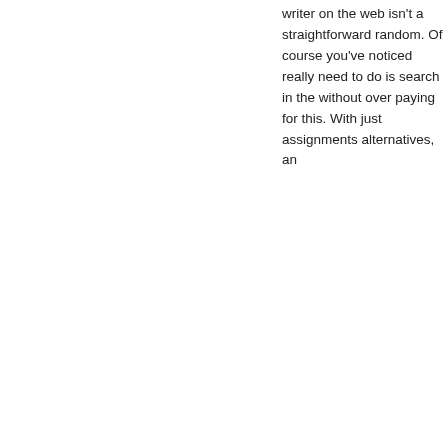writer on the web isn't a straightforward random. Of course you've noticed really need to do is search in the without over paying for this. With just assignments alternatives, an